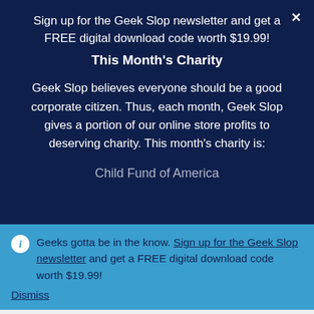Sign up for the Geek Slop newsletter and get a FREE digital download code worth $19.99!
This Month's Charity
Geek Slop believes everyone should be a good corporate citizen. Thus, each month, Geek Slop gives a portion of our online store profits to deserving charity. This month's charity is:
Child Fund of America
Geeks gotta be in the know. Sign up for the Geek Slop newsletter and get a FREE digital download code worth $19.99!
Dismiss